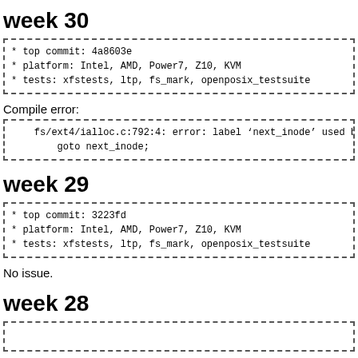week 30
* top commit: 4a8603e
* platform: Intel, AMD, Power7, Z10, KVM
* tests: xfstests, ltp, fs_mark, openposix_testsuite
Compile error:
fs/ext4/ialloc.c:792:4: error: label 'next_inode' used but not defi
    goto next_inode;
week 29
* top commit: 3223fd
* platform: Intel, AMD, Power7, Z10, KVM
* tests: xfstests, ltp, fs_mark, openposix_testsuite
No issue.
week 28